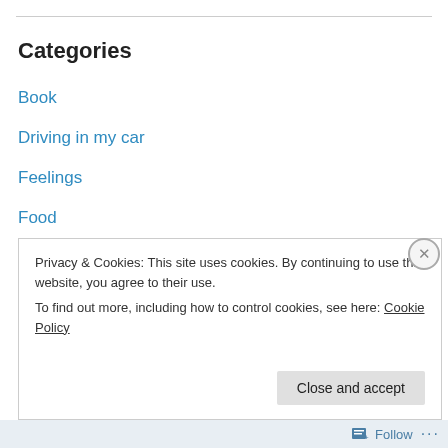Categories
Book
Driving in my car
Feelings
Food
Music
Random Thoughts
Sports
Uncategorized
Writing
Privacy & Cookies: This site uses cookies. By continuing to use this website, you agree to their use.
To find out more, including how to control cookies, see here: Cookie Policy
Follow ...